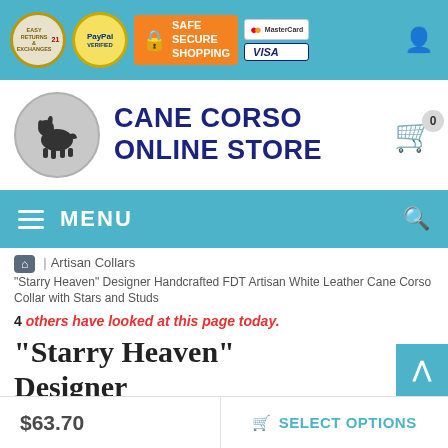SAFE SECURE SHOPPING | PayPal VERIFIED | Easy Returns & Exchanges | MasterCard | VISA
[Figure (logo): Cane Corso Online Store logo with dog silhouette in circle and dark blue store name text]
MENU
Artisan Collars
"Starry Heaven" Designer Handcrafted FDT Artisan White Leather Cane Corso Collar with Stars and Studs
4 others have looked at this page today.
"Starry Heaven" Designer Handcrafted FDT Artisan
$63.70
SELECT OPTIONS